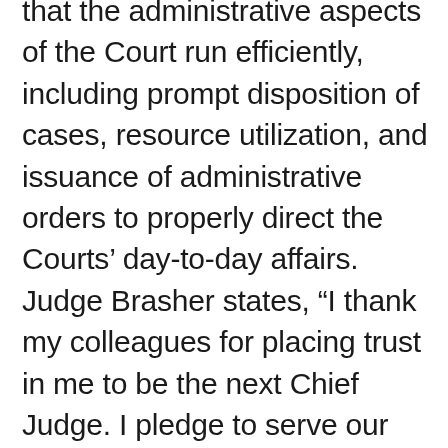that the administrative aspects of the Court run efficiently, including prompt disposition of cases, resource utilization, and issuance of administrative orders to properly direct the Courts' day-to-day affairs. Judge Brasher states, “I thank my colleagues for placing trust in me to be the next Chief Judge. I pledge to serve our Court and our Community with professionalism, courtesy, and diligence.  Many thanks to Judge McBurney for his service to our Court, our Community, and our State as Chief Judge. I will work hard to continue